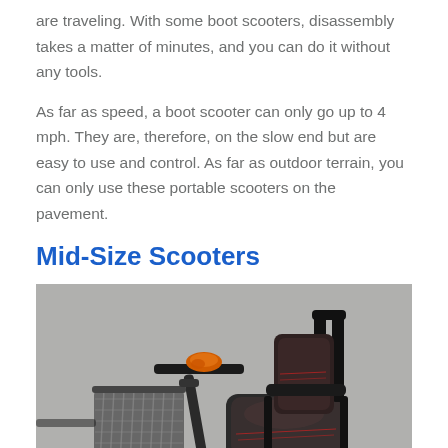are traveling. With some boot scooters, disassembly takes a matter of minutes, and you can do it without any tools.
As far as speed, a boot scooter can only go up to 4 mph. They are, therefore, on the slow end but are easy to use and control. As far as outdoor terrain, you can only use these portable scooters on the pavement.
Mid-Size Scooters
[Figure (photo): Photo of a mid-size mobility scooter with a black seat with red stitching, black armrests, handlebars with an orange grip, and a gray wicker-style front basket, resting on a gray surface.]